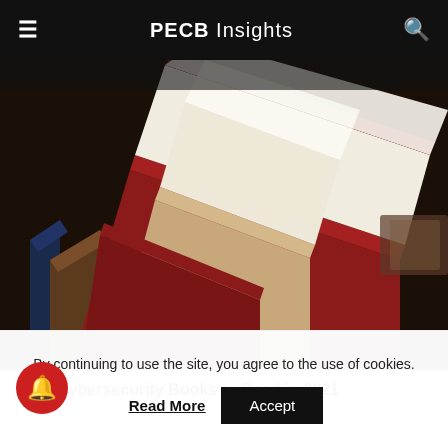PECB Insights
[Figure (photo): Close-up photo of several hardcover books standing upright with pages fanned out, showing books with red, blue, tan, and dark colored covers arranged together]
Best Cybersecurity Books to Read in 2021
By continuing to use the site, you agree to the use of cookies.
Read More   Accept